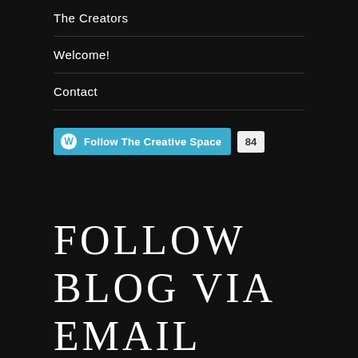The Creators
Welcome!
Contact
[Figure (other): WordPress Follow button with teal background showing 'Follow The Creative Space' text and a follower count badge showing 84]
FOLLOW BLOG VIA EMAIL